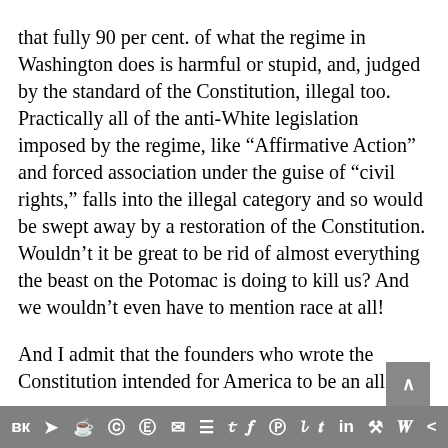that fully 90 per cent. of what the regime in Washington does is harmful or stupid, and, judged by the standard of the Constitution, illegal too. Practically all of the anti-White legislation imposed by the regime, like “Affirmative Action” and forced association under the guise of “civil rights,” falls into the illegal category and so would be swept away by a restoration of the Constitution. Wouldn’t it be great to be rid of almost everything the beast on the Potomac is doing to kill us? And we wouldn’t even have to mention race at all!
And I admit that the founders who wrote the Constitution intended for America to be an all-
VK Telegram Reddit WordPress WhatsApp Email Buffer Twitter Facebook Instagram Pinterest Tumblr LinkedIn Share Wordpress Share